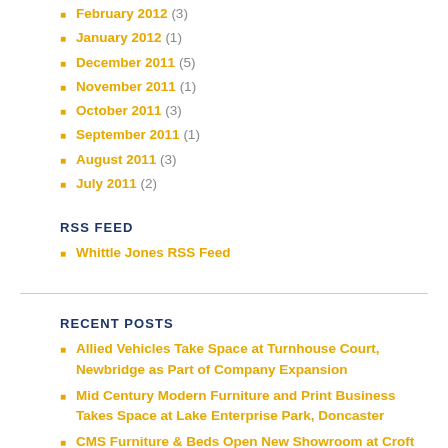February 2012 (3)
January 2012 (1)
December 2011 (5)
November 2011 (1)
October 2011 (3)
September 2011 (1)
August 2011 (3)
July 2011 (2)
RSS FEED
Whittle Jones RSS Feed
RECENT POSTS
Allied Vehicles Take Space at Turnhouse Court, Newbridge as Part of Company Expansion
Mid Century Modern Furniture and Print Business Takes Space at Lake Enterprise Park, Doncaster
CMS Furniture & Beds Open New Showroom at Croft Trade Park Following Expansion